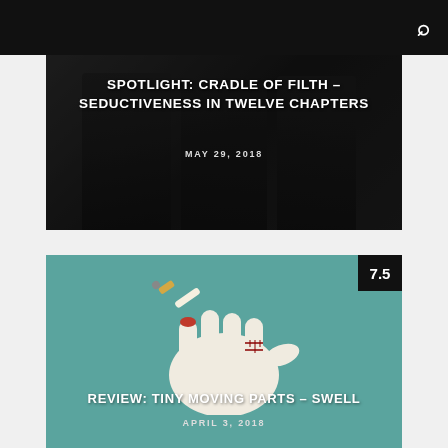SPOTLIGHT: CRADLE OF FILTH – SEDUCTIVENESS IN TWELVE CHAPTERS
MAY 29, 2018
[Figure (photo): Dark band photo of Cradle of Filth with gothic styling, used as article card background]
REVIEW: TINY MOVING PARTS – SWELL
APRIL 3, 2018
[Figure (photo): Album art showing a hand with stitches holding a cigarette against a teal background, with score 7.5 in top right corner]